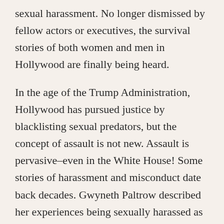sexual harassment. No longer dismissed by fellow actors or executives, the survival stories of both women and men in Hollywood are finally being heard.
In the age of the Trump Administration, Hollywood has pursued justice by blacklisting sexual predators, but the concept of assault is not new. Assault is pervasive–even in the White House! Some stories of harassment and misconduct date back decades. Gwyneth Paltrow described her experiences being sexually harassed as a 22-year-old. Rose McGowan has spoken out about Hollywood assault for years, although until now, she had been largely silenced. Her feminist views and blunt perspective of Hollywood was raw and scary to both